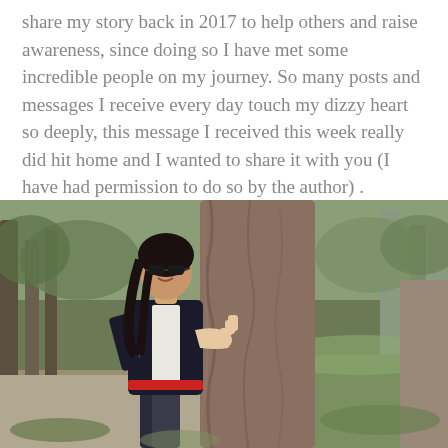share my story back in 2017 to help others and raise awareness, since doing so I have met some incredible people on my journey. So many posts and messages I receive every day touch my dizzy heart so deeply, this message I received this week really did hit home and I wanted to share it with you (I have had permission to do so by the author) .
[Figure (photo): A woman wearing sunglasses and a black, white, and red striped jacket hugging a large tree trunk in a wooded outdoor area with green grass and other trees in the background.]